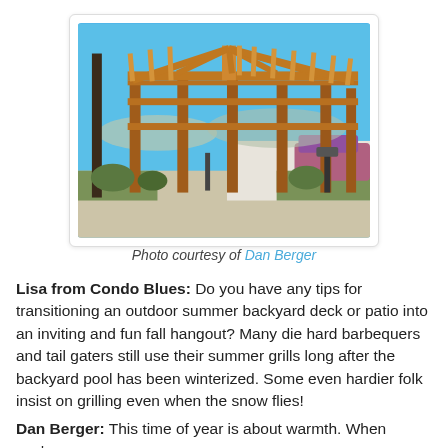[Figure (photo): Outdoor wooden pergola structure with brown posts and beams, blue sky background, parking area and landscaping visible]
Photo courtesy of Dan Berger
Lisa from Condo Blues: Do you have any tips for transitioning an outdoor summer backyard deck or patio into an inviting and fun fall hangout? Many die hard barbequers and tail gaters still use their summer grills long after the backyard pool has been winterized. Some even hardier folk insist on grilling even when the snow flies!
Dan Berger: This time of year is about warmth. When you're